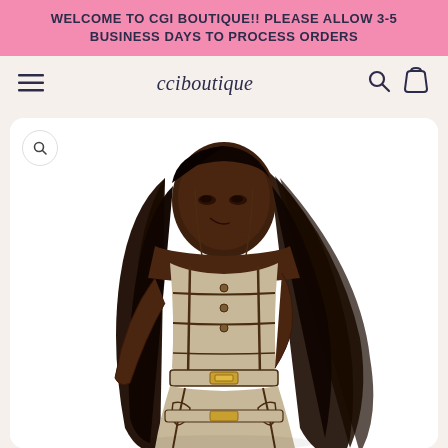WELCOME TO CGI BOUTIQUE!! PLEASE ALLOW 3-5 BUSINESS DAYS TO PROCESS ORDERS
cciboutique
[Figure (photo): A young woman modeling a tan/beige corset-style outfit with dark brown stitching details and belt accents. She has long dark wavy hair and is posing with one hand near her face, smiling. The background is white.]